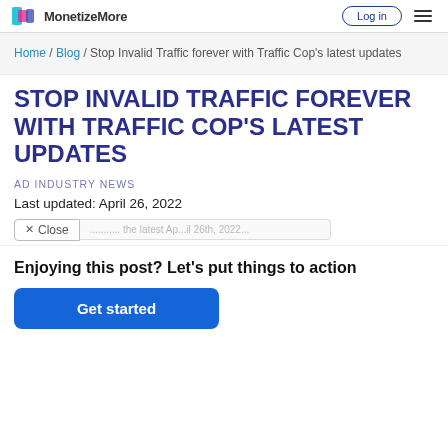MonetizeMore
Home / Blog / Stop Invalid Traffic forever with Traffic Cop's latest updates
STOP INVALID TRAFFIC FOREVER WITH TRAFFIC COP'S LATEST UPDATES
AD INDUSTRY NEWS
Last updated: April 26, 2022
× Close
Enjoying this post? Let's put things to action
Get started